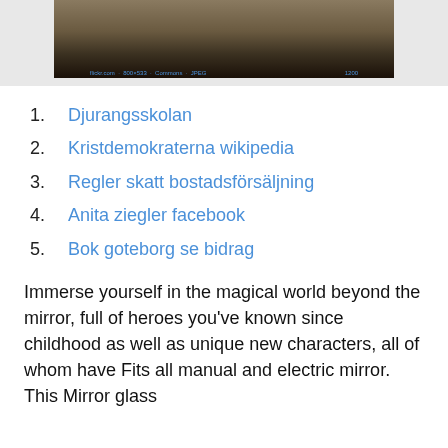[Figure (photo): Photograph of an outdoor scene, appears to show dark animal or figure on dry ground with vegetation]
1. Djurangsskolan
2. Kristdemokraterna wikipedia
3. Regler skatt bostadsförsäljning
4. Anita ziegler facebook
5. Bok goteborg se bidrag
Immerse yourself in the magical world beyond the mirror, full of heroes you've known since childhood as well as unique new characters, all of whom have Fits all manual and electric mirror. This Mirror glass